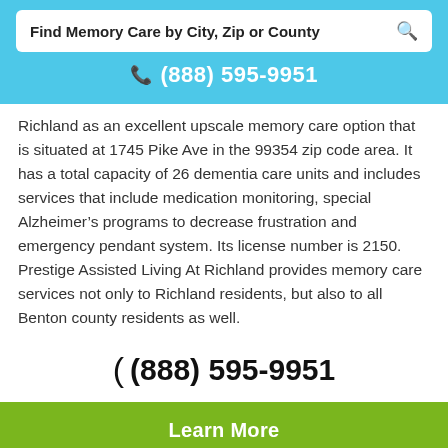Find Memory Care by City, Zip or County
☎ (888) 595-9951
Richland as an excellent upscale memory care option that is situated at 1745 Pike Ave in the 99354 zip code area. It has a total capacity of 26 dementia care units and includes services that include medication monitoring, special Alzheimer's programs to decrease frustration and emergency pendant system. Its license number is 2150. Prestige Assisted Living At Richland provides memory care services not only to Richland residents, but also to all Benton county residents as well.
( (888) 595-9951
Learn More